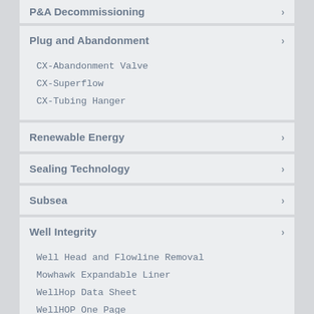P&A Decommissioning
Plug and Abandonment
CX-Abandonment Valve
CX-Superflow
CX-Tubing Hanger
Renewable Energy
Sealing Technology
Subsea
Well Integrity
Well Head and Flowline Removal
Mowhawk Expandable Liner
WellHop Data Sheet
WellHOP One Page
WellHOP Presentation
WellHOP